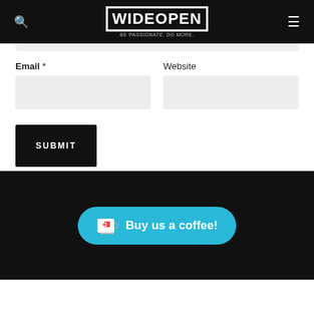WIDE OPEN
[Figure (screenshot): Website comment form with Email and Website fields, a Submit button, and a Buy us a coffee button in the footer]
Email *
Website
SUBMIT
Buy us a coffee!